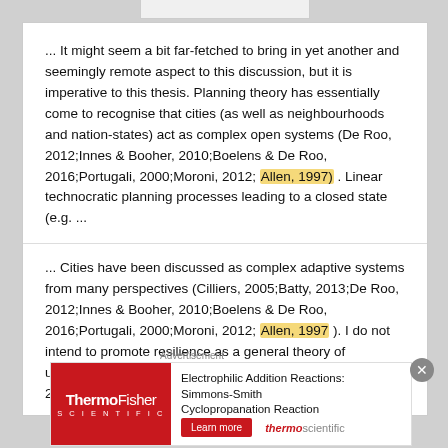... It might seem a bit far-fetched to bring in yet another and seemingly remote aspect to this discussion, but it is imperative to this thesis. Planning theory has essentially come to recognise that cities (as well as neighbourhoods and nation-states) act as complex open systems (De Roo, 2012;Innes & Booher, 2010;Boelens & De Roo, 2016;Portugali, 2000;Moroni, 2012; Allen, 1997) . Linear technocratic planning processes leading to a closed state (e.g. ...
... Cities have been discussed as complex adaptive systems from many perspectives (Cilliers, 2005;Batty, 2013;De Roo, 2012;Innes & Booher, 2010;Boelens & De Roo, 2016;Portugali, 2000;Moroni, 2012; Allen, 1997 ). I do not intend to promote resilience as a general theory of unification of the physical and social sciences (Olsson et al, 2015), but there is sufficient literature on the
[Figure (other): ThermoFisher Scientific advertisement banner: Electrophilic Addition Reactions: Simmons-Smith Cyclopropanation Reaction. Red ThermoFisher Scientific logo on left, text and Learn more button on right.]